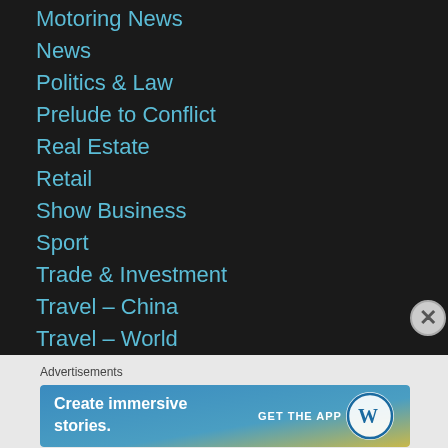Motoring News
News
Politics & Law
Prelude to Conflict
Real Estate
Retail
Show Business
Sport
Trade & Investment
Travel – China
Travel – World
Uncategorized
Advertisements
[Figure (infographic): WordPress advertisement banner: 'Create immersive stories. GET THE APP' with WordPress logo, gradient blue-to-yellow background]